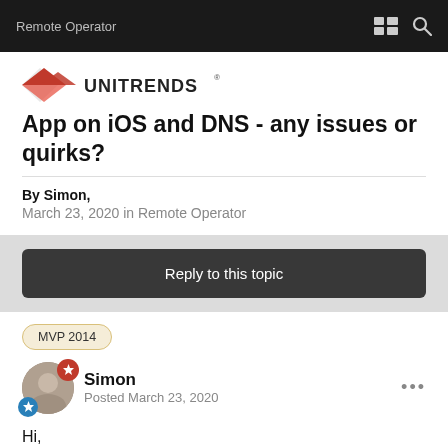Remote Operator
[Figure (logo): Red and white logo (partially visible) with text 'UNITRENDS']
App on iOS and DNS - any issues or quirks?
By Simon, March 23, 2020 in Remote Operator
Reply to this topic
MVP 2014
Simon
Posted March 23, 2020
Hi,